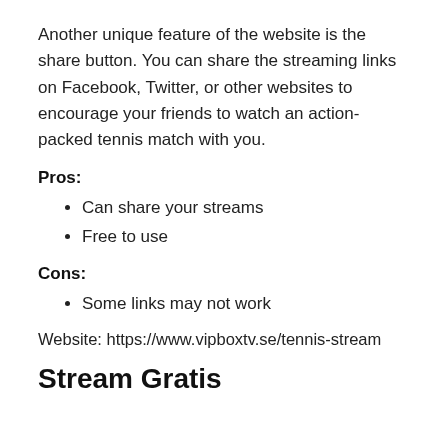Another unique feature of the website is the share button. You can share the streaming links on Facebook, Twitter, or other websites to encourage your friends to watch an action-packed tennis match with you.
Pros:
Can share your streams
Free to use
Cons:
Some links may not work
Website: https://www.vipboxtv.se/tennis-stream
Stream Gratis